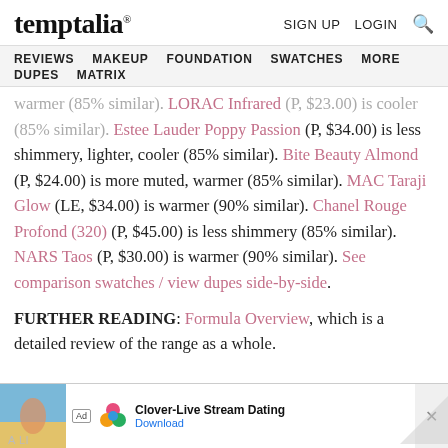temptalia® | SIGN UP  LOGIN 🔍
REVIEWS  MAKEUP  FOUNDATION  SWATCHES  MORE  DUPES  MATRIX
warmer (85% similar). LORAC Infrared (P, $23.00) is cooler (85% similar). Estee Lauder Poppy Passion (P, $34.00) is less shimmery, lighter, cooler (85% similar). Bite Beauty Almond (P, $24.00) is more muted, warmer (85% similar). MAC Taraji Glow (LE, $34.00) is warmer (90% similar). Chanel Rouge Profond (320) (P, $45.00) is less shimmery (85% similar). NARS Taos (P, $30.00) is warmer (90% similar). See comparison swatches / view dupes side-by-side.
FURTHER READING: Formula Overview, which is a detailed review of the range as a whole.
[Figure (screenshot): Advertisement banner for Clover-Live Stream Dating app with Download button]